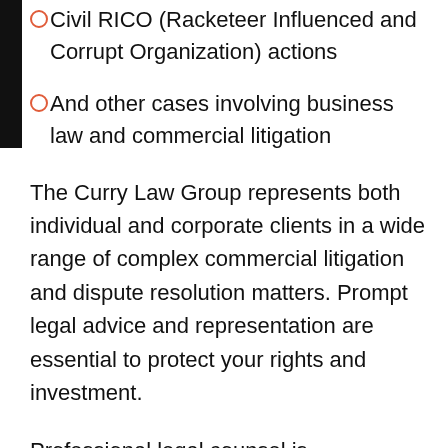Civil RICO (Racketeer Influenced and Corrupt Organization) actions
And other cases involving business law and commercial litigation
The Curry Law Group represents both individual and corporate clients in a wide range of complex commercial litigation and dispute resolution matters. Prompt legal advice and representation are essential to protect your rights and investment.
Professional legal counsel is indispensable for effectively overcoming legal obstacles. Whether you are individual, sole-proprietor, small-business owner or a corporate executive to a